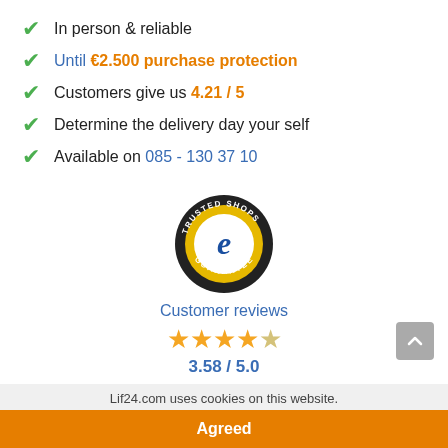In person & reliable
Until €2.500 purchase protection
Customers give us 4.21 / 5
Determine the delivery day your self
Available on 085 - 130 37 10
[Figure (logo): Trusted Shops Guarantee badge — circular dark badge with gold 'e' logo in center]
Customer reviews
3.58 / 5.0
Stock   Specifications   Product Description
Lif24.com uses cookies on this website.
Agreed